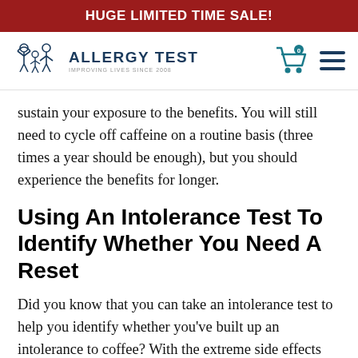HUGE LIMITED TIME SALE!
[Figure (logo): Allergy Test logo with stick figure family icon and text 'ALLERGY TEST - IMPROVING LIVES SINCE 2008']
sustain your exposure to the benefits. You will still need to cycle off caffeine on a routine basis (three times a year should be enough), but you should experience the benefits for longer.
Using An Intolerance Test To Identify Whether You Need A Reset
Did you know that you can take an intolerance test to help you identify whether you've built up an intolerance to coffee? With the extreme side effects involved, an unnecessary reset could